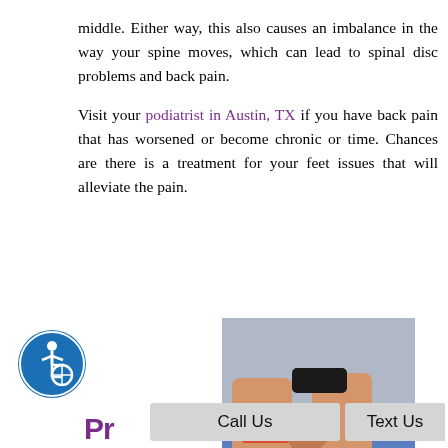middle. Either way, this also causes an imbalance in the way your spine moves, which can lead to spinal disc problems and back pain.
Visit your podiatrist in Austin, TX if you have back pain that has worsened or become chronic or time. Chances are there is a treatment for your feet issues that will alleviate the pain.
[Figure (photo): Photo of a person's lower legs and hands, appearing to apply kinesiology tape (orange/red colored tape) to a leg, on a blue surface]
Call Us   Text Us